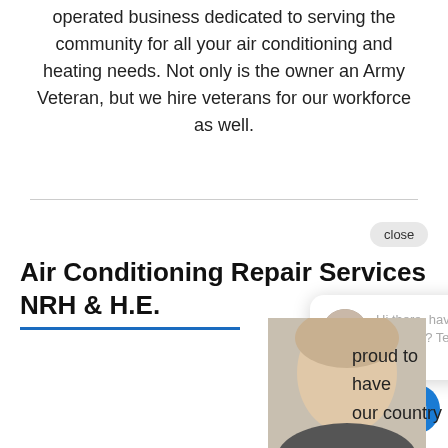operated business dedicated to serving the community for all your air conditioning and heating needs. Not only is the owner an Army Veteran, but we hire veterans for our workforce as well.
Air Conditioning Repair Services NRH & H.E.
[Figure (screenshot): Chat widget popup with avatar photo and text 'Hi there, have a question? Text us here.' with a close button and blue chat icon.]
[Figure (photo): Partial photo of a man's face and shoulders, blond/grey hair.]
proud to have our country